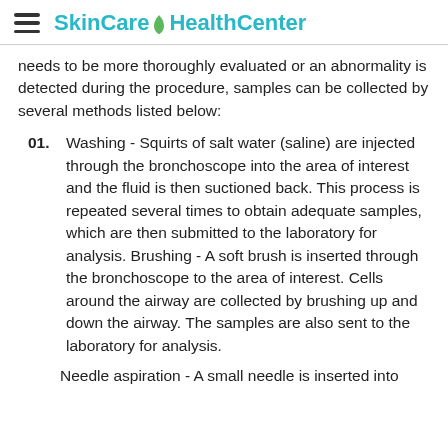SkinCare HealthCenter
needs to be more thoroughly evaluated or an abnormality is detected during the procedure, samples can be collected by several methods listed below:
Washing - Squirts of salt water (saline) are injected through the bronchoscope into the area of interest and the fluid is then suctioned back. This process is repeated several times to obtain adequate samples, which are then submitted to the laboratory for analysis. Brushing - A soft brush is inserted through the bronchoscope to the area of interest. Cells around the airway are collected by brushing up and down the airway. The samples are also sent to the laboratory for analysis.
Needle aspiration - A small needle is inserted into